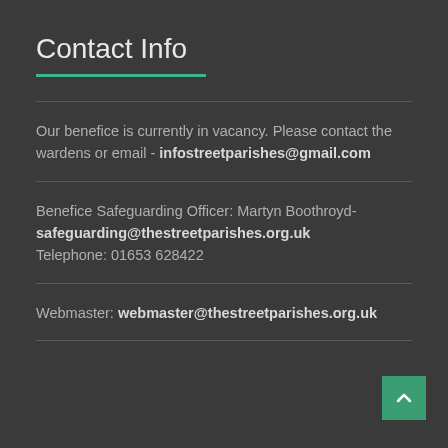Contact Info
Our benefice is currently in vacancy. Please contact the wardens or email - infostreetparishes@gmail.com
Benefice Safeguarding Officer: Martyn Boothroyd- safeguarding@thestreetparishes.org.uk Telephone: 01653 628422
Webmaster: webmaster@thestreetparishes.org.uk